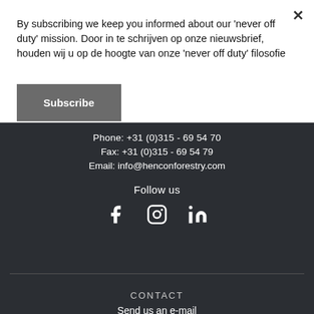By subscribing we keep you informed about our 'never off duty' mission. Door in te schrijven op onze nieuwsbrief, houden wij u op de hoogte van onze 'never off duty' filosofie
Subscribe
Phone: +31 (0)315 - 69 54 70
Fax: +31 (0)315 - 69 54 79
Email: info@henconforestry.com
Follow us
[Figure (illustration): Social media icons: Facebook, Instagram, LinkedIn]
CONTACT
Send us an e-mail